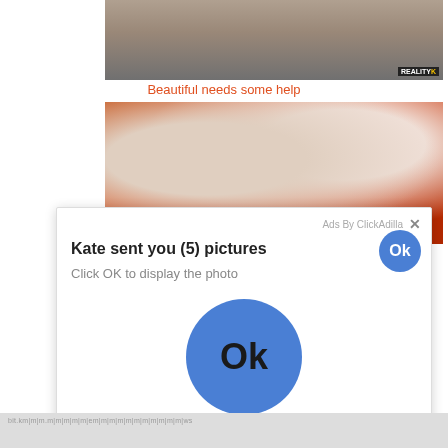[Figure (photo): Partial view of legs/feet on a bed, with REALITYK watermark]
Beautiful needs some help
[Figure (photo): Close-up photo showing red and black lace lingerie]
[Figure (screenshot): Ad overlay from ClickAdilla: 'Kate sent you (5) pictures. Click OK to display the photo.' with large blue Ok button]
[Figure (photo): Bottom strip showing partial image]